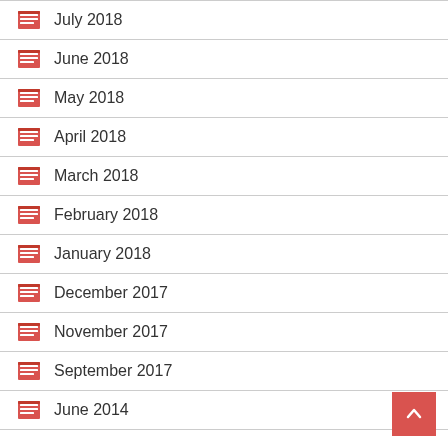July 2018
June 2018
May 2018
April 2018
March 2018
February 2018
January 2018
December 2017
November 2017
September 2017
June 2014